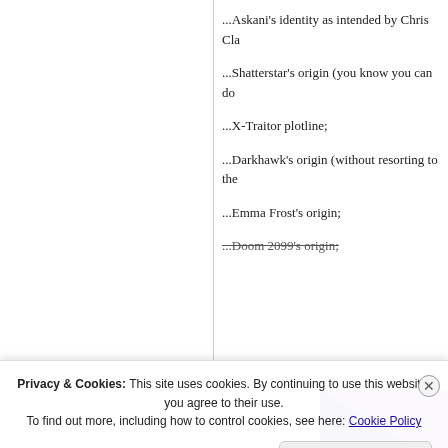...Askani's identity as intended by Chris Cla
...Shatterstar's origin (you know you can do
...X-Traitor plotline;
...Darkhawk's origin (without resorting to the
...Emma Frost's origin;
...Doom 2099's origin;
[Figure (illustration): Advertisement banner with dark purple background, teal/green triangle arrow shape, purple triangle top right, bold white text reading 'Turn your ho a business in', and a white 'Start a new store' button]
Privacy & Cookies: This site uses cookies. By continuing to use this website, you agree to their use. To find out more, including how to control cookies, see here: Cookie Policy
Close and accept